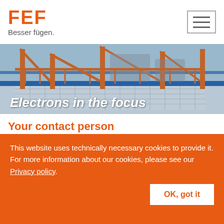FEF Besser fügen.
[Figure (photo): Industrial beam welding machinery with metal walkways and blue/orange structural framework — banner image for 'Electrons in the focus']
Electrons in the focus
Your contact person
[Figure (photo): Headshot photo of Thorsten Twiehaus, project manager, shown cropped at bottom]
M.Sc.
Thorsten Twiehaus (SFI/EWE/IWE)
Project Manager Beam Welding
This website uses technically necessary cookies to provide it. For more information about our cookies, please see our Privacy policy.